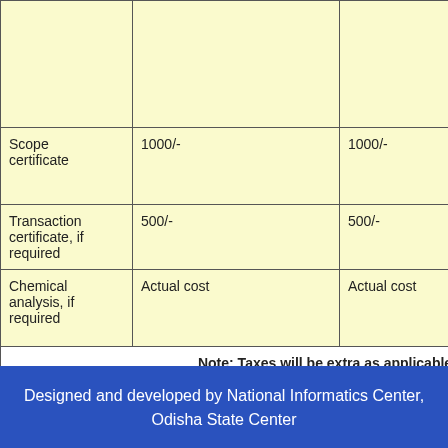|  |  |  | a w a |
| Scope certificate | 1000/- | 1000/- | T w r c |
| Transaction certificate, if required | 500/- | 500/- | P |
| Chemical analysis, if required | Actual cost | Actual cost | S le p s |
| Note: Taxes will be extra as applicable. |  |  |  |
Designed and developed by National Informatics Center, Odisha State Center